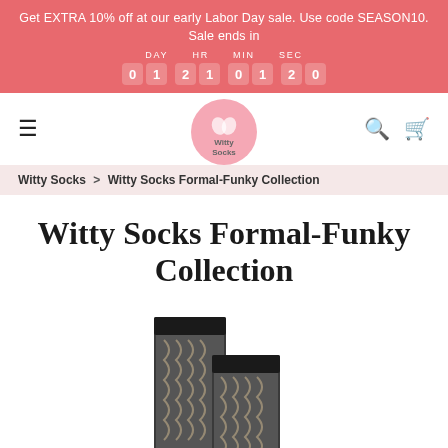Get EXTRA 10% off at our early Labor Day sale. Use code SEASON10. Sale ends in | DAY 01 HR 21 MIN 01 SEC 20
[Figure (logo): Witty Socks circular pink logo with sock icon]
Witty Socks > Witty Socks Formal-Funky Collection
Witty Socks Formal-Funky Collection
[Figure (photo): Two dark gray socks with wavy cream pattern design and black cuffs, displayed upright]